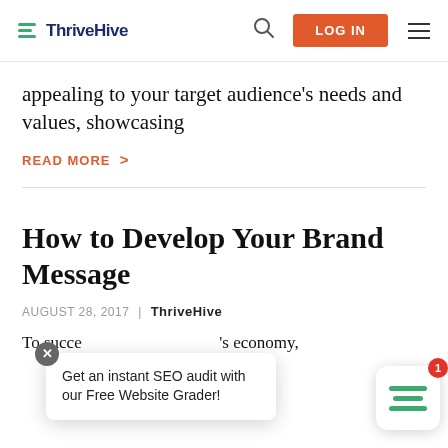ThriveHive | LOG IN
appealing to your target audience's needs and values, showcasing
READ MORE >
How to Develop Your Brand Message
AUGUST 28, 2017 | ThriveHive
To succeed in today's economy, The d
Get an instant SEO audit with our Free Website Grader!